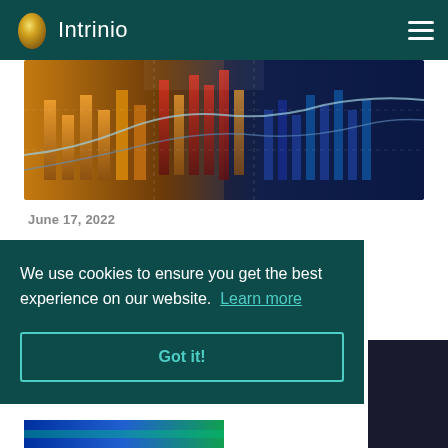Intrinio
[Figure (photo): Financial stock market chart with colorful candlestick bars and glowing lines on dark background]
June 17, 2022
We use cookies to ensure you get the best experience on our website. Learn more
Got it!
[Figure (photo): Partial bottom image with blue and green colors]